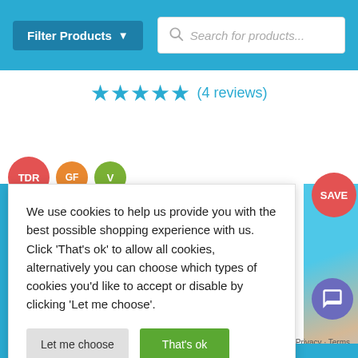[Figure (screenshot): Blue header bar with 'Filter Products' dropdown button and search box with placeholder text 'Search for products...']
★★★★½ (4 reviews)
[Figure (infographic): Three circular badges: TDR (red), GF (orange), V (green)]
We use cookies to help us provide you with the best possible shopping experience with us. Click 'That's ok' to allow all cookies, alternatively you can choose which types of cookies you'd like to accept or disable by clicking 'Let me choose'.
Let me choose
That's ok
[Figure (photo): Partial product photo showing blue and beige/grey materials]
[Figure (infographic): Red circular SAVE badge]
[Figure (infographic): Purple circular chat/message bubble icon]
Privacy · Terms